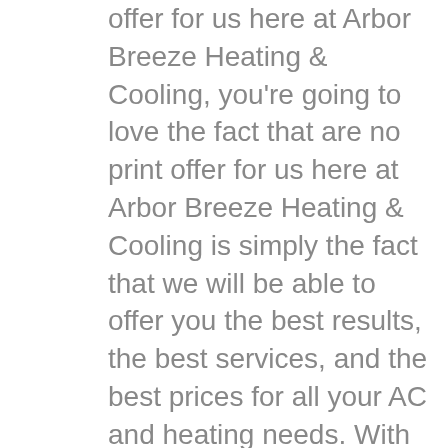offer for us here at Arbor Breeze Heating & Cooling, you're going to love the fact that are no print offer for us here at Arbor Breeze Heating & Cooling is simply the fact that we will be able to offer you the best results, the best services, and the best prices for all your AC and heating needs. With that being said you're going to love the fact that we are the best company in town so we will guarantee you the best results in regards to all your AC and heating needs. You're also going to like the fact that we are the highest rated and most reviewed company in regards to AC and heating, so you will be dealing with the highest trained professionals and you will not have to worry about dealing with amateurs that do not know what they're doing, and are only